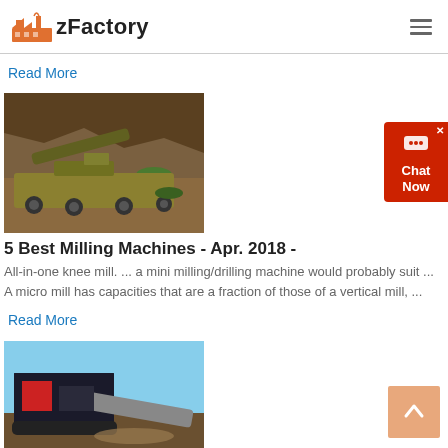zFactory
Read More
[Figure (photo): Mining machinery/crushing equipment at an open-pit quarry site with rocky terrain]
5 Best Milling Machines - Apr. 2018 -
All-in-one knee mill. ... a mini milling/drilling machine would probably suit ... A micro mill has capacities that are a fraction of those of a vertical mill, ...
Read More
[Figure (photo): Industrial crushing/screening machine at a quarry or mine site under blue sky]